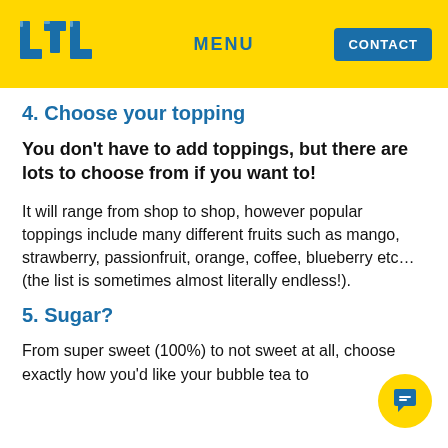LTL | MENU | CONTACT
4. Choose your topping
You don't have to add toppings, but there are lots to choose from if you want to!
It will range from shop to shop, however popular toppings include many different fruits such as mango, strawberry, passionfruit, orange, coffee, blueberry etc… (the list is sometimes almost literally endless!).
5. Sugar?
From super sweet (100%) to not sweet at all, choose exactly how you'd like your bubble tea to